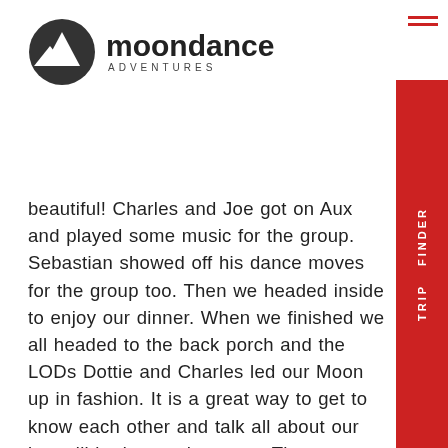[Figure (logo): Moondance Adventures logo with mountain/moon icon and text 'moondance ADVENTURES']
beautiful! Charles and Joe got on Aux and played some music for the group. Sebastian showed off his dance moves for the group too. Then we headed inside to enjoy our dinner. When we finished we all headed to the back porch and the LODs Dottie and Charles led our Moon up in fashion. It is a great way to get to know each other and talk all about our incredible day on the water. Then we headed back to the cabins to listen to some music and get ready for bed. On Friday morning, a few of the guys decided to go on a morning run before the day's activities started. Jack, Joe, and Owen headed out for a run along the beach as the sun